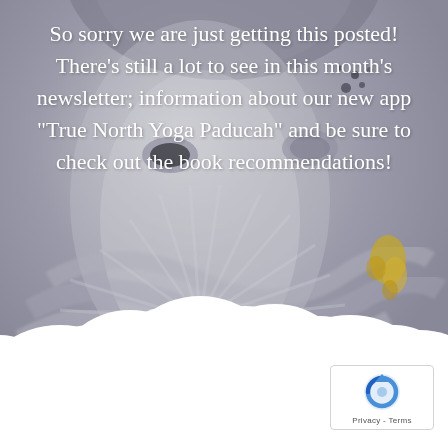[Figure (illustration): Background image of a painted Buddha face in grey and white tones with swirling brushstroke patterns, some yellow and dark spots. Bottom portion shows white cloud-like shapes overlaying the image, creating a white space at the bottom.]
So sorry we are just getting this posted!  There’s still a lot to see in this month’s newsletter; information about our new app “True North Yoga Paducah” and be sure to check out the book recommendations!
[Figure (logo): reCAPTCHA badge in bottom right corner showing the recaptcha circular arrow icon in blue, with 'Privacy - Terms' text below.]